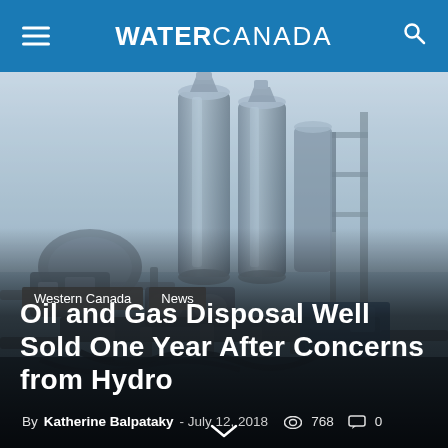WATER CANADA
[Figure (photo): Industrial oil and gas equipment — large cylindrical tanks and heavy machinery on a job site, misty/hazy background]
Western Canada  News
Oil and Gas Disposal Well Sold One Year After Concerns from Hydro
By Katherine Balpataky - July 12, 2018  768  0